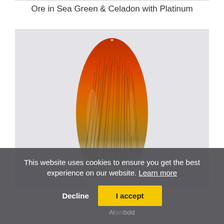Ore in Sea Green & Celadon with Platinum
[Figure (photo): A glass art object shaped like a tall elongated teardrop or seed pod. The piece transitions from deep orange-red at the pointed top through amber and golden tones, with fine dark thread-like inclusions throughout, fading to a frosted white at the rounded base. The background is a light grey-white.]
This website uses cookies to ensure you get the best experience on our website. Learn more
Decline   I accept
Arambold